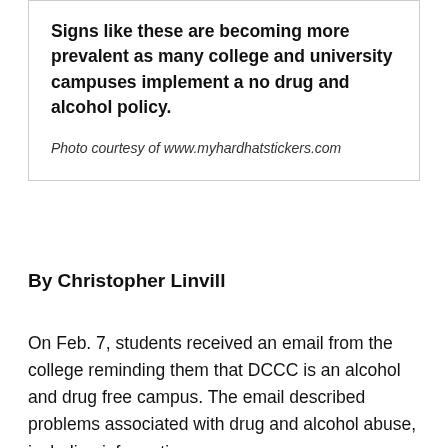Signs like these are becoming more prevalent as many college and university campuses implement a no drug and alcohol policy.

Photo courtesy of www.myhardhatstickers.com
By Christopher Linvill
On Feb. 7, students received an email from the college reminding them that DCCC is an alcohol and drug free campus. The email described problems associated with drug and alcohol abuse, including information